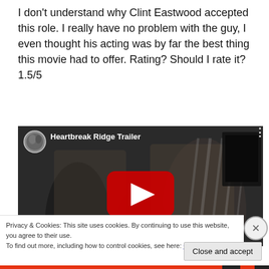I don't understand why Clint Eastwood accepted this role. I really have no problem with the guy, I even thought his acting was by far the best thing this movie had to offer. Rating? Should I rate it? 1.5/5
[Figure (screenshot): Embedded YouTube video player showing the Heartbreak Ridge Trailer. Dark scene with military figures visible in the background. Red YouTube play button centered on the video. YouTube logo/thumbnail circle in top-left with video title 'Heartbreak Ridge Trailer' in white text.]
Privacy & Cookies: This site uses cookies. By continuing to use this website, you agree to their use.
To find out more, including how to control cookies, see here: Cookie Policy